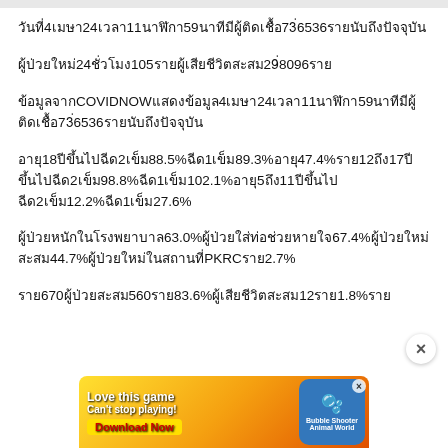วันที่ 4 เมษา 24 ช่วงเวลา 11 นาฬิกา 59 นาที มีผู้ติดเชื้อ 73,6536 รายนับถึงปัจจุบัน
ผู้ป่วย 24 ชั่วโมง 105 ราย ผู้เสียชีวิตสะสม 29,8096 ราย
ข้อมูลจาก COVIDNOW แสดงข้อมูล 4 เมษา 24 ช่วงเวลา 11 นาฬิกา 59 นาที มีผู้ติดเชื้อ 73,6536 รายนับถึงปัจจุบัน
อายุ 18 ปีขึ้นไป 2 เข็ม 88.5% อายุ 1 เข็ม 89.3% อายุ 47.4% ราย 12 ถึง 17 ปีขึ้นไป 2 เข็ม 98.8% อายุ 1 เข็ม 102.1% อายุ 5 ถึง 11 ปีขึ้นไป 2 เข็ม 12.2% อายุ 1 เข็ม 27.6%
ผู้ป่วยหนักในโรงพยาบาล 63.0% ผู้ป่วยใส่ท่อ 67.4% ผู้ป่วยใหม่สะสม 44.7% ผู้ป่วยใหม่ในสถานที่ PKRC ราย 2.7%
ราย 670 ผู้ป่วยสะสม 560 ราย 83.6% ผู้เสียชีวิตสะสม 12 ราย 1.8% ราย...